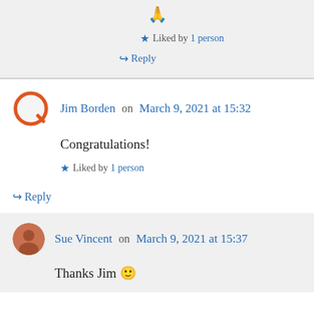🙏
★ Liked by 1 person
↪ Reply
Jim Borden on March 9, 2021 at 15:32
Congratulations!
★ Liked by 1 person
↪ Reply
Sue Vincent on March 9, 2021 at 15:37
Thanks Jim 🙂